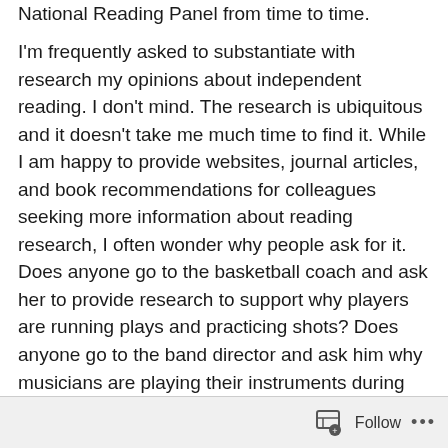National Reading Panel from time to time.
I'm frequently asked to substantiate with research my opinions about independent reading. I don't mind. The research is ubiquitous and it doesn't take me much time to find it. While I am happy to provide websites, journal articles, and book recommendations for colleagues seeking more information about reading research, I often wonder why people ask for it. Does anyone go to the basketball coach and ask her to provide research to support why players are running plays and practicing shots? Does anyone go to the band director and ask him why musicians are playing their instruments during band class?
Why must English teachers constantly defend the need for
Follow ...